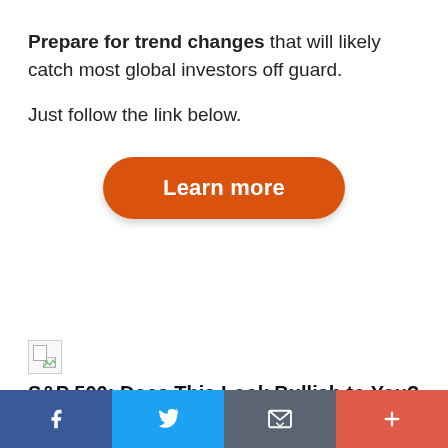Prepare for trend changes that will likely catch most global investors off guard.
Just follow the link below.
[Figure (other): Orange rounded button labeled 'Learn more']
[Figure (other): Broken/missing image placeholder thumbnail]
S&P 500: Does This Look Bullish to You?
[Figure (other): Social sharing bar with Facebook, Twitter, Email, and More buttons]